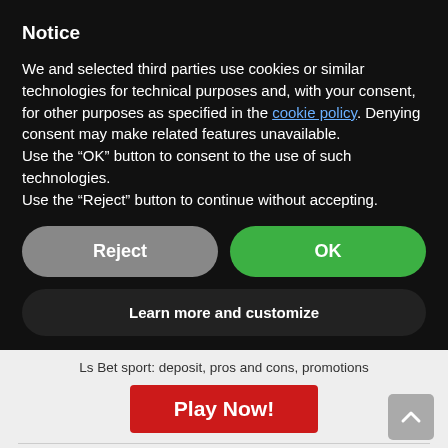Notice
We and selected third parties use cookies or similar technologies for technical purposes and, with your consent, for other purposes as specified in the cookie policy. Denying consent may make related features unavailable.
Use the “OK” button to consent to the use of such technologies.
Use the “Reject” button to continue without accepting.
Reject | OK
Learn more and customize
Ls Bet sport: deposit, pros and cons, promotions
Play Now!
[Figure (logo): CAMPOBET logo with CAMPO in red italic and BET in white on green rounded rectangle]